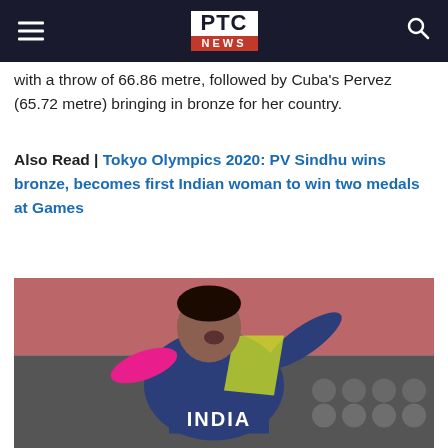PTC NEWS
with a throw of 66.86 metre, followed by Cuba's Pervez (65.72 metre) bringing in bronze for her country.
Also Read | Tokyo Olympics 2020: PV Sindhu wins bronze, becomes first Indian woman to win two medals at Games
[Figure (photo): Female athlete wearing India jersey in throwing action, mid-throw at what appears to be a discus or shot put event at the Olympics]